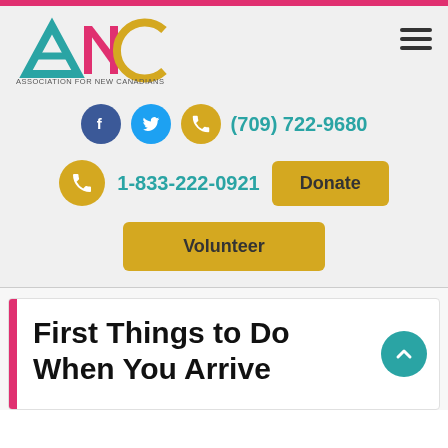[Figure (logo): ANC - Association for New Canadians logo with geometric letters A, N, C in teal, pink, and gold colors]
(709) 722-9680
1-833-222-0921
Donate
Volunteer
First Things to Do When You Arrive